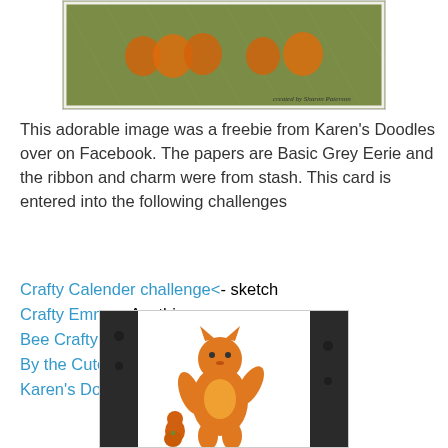[Figure (photo): Top portion of a handmade Halloween card showing an orange and green scene with pumpkins and a cat illustration. Watermark reads 'created by Sharon Paterson'.]
This adorable image was a freebie from Karen's Doodles over on Facebook. The papers are Basic Grey Eerie and the ribbon and charm were from stash. This card is entered into the following challenges
Crafty Calender challenge<- sketch
Crafty Emma - Anything goes
Bee Crafty - anything goes
By the Cute and Girly - animal antics
Karen's Doodles - polka dots
[Figure (photo): Handmade Halloween card showing a child in an orange cat costume standing next to a small cat sitting on a jack-o-lantern pumpkin. Background has Halloween-themed dark patterned paper on the sides.]